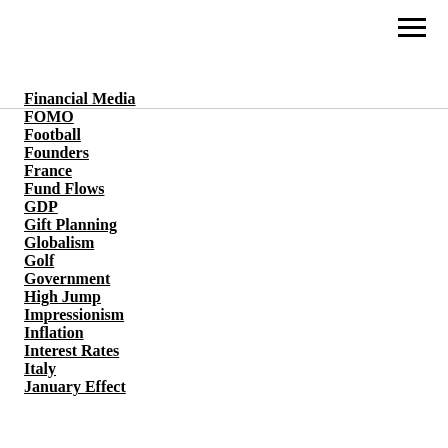Financial Media
FOMO
Football
Founders
France
Fund Flows
GDP
Gift Planning
Globalism
Golf
Government
High Jump
Impressionism
Inflation
Interest Rates
Italy
January Effect